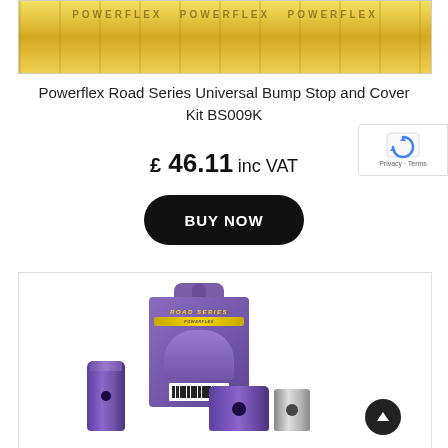[Figure (photo): Top portion of a Powerflex product image showing yellow packaging with logo text, cropped at top]
Powerflex Road Series Universal Bump Stop and Cover Kit BS009K
£ 46.11 inc VAT
BUY NOW
[Figure (photo): Powerflex Road Series product photo showing purple polyurethane bushings, metal sleeve, and purple branded packaging with gold POWERFLEX label and barcode]